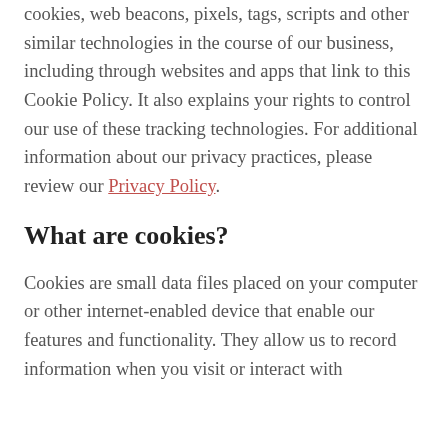cookies, web beacons, pixels, tags, scripts and other similar technologies in the course of our business, including through websites and apps that link to this Cookie Policy. It also explains your rights to control our use of these tracking technologies. For additional information about our privacy practices, please review our Privacy Policy.
What are cookies?
Cookies are small data files placed on your computer or other internet-enabled device that enable our features and functionality. They allow us to record information when you visit or interact with